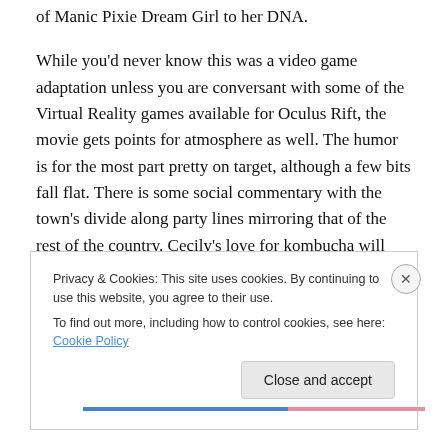of Manic Pixie Dream Girl to her DNA.
While you'd never know this was a video game adaptation unless you are conversant with some of the Virtual Reality games available for Oculus Rift, the movie gets points for atmosphere as well. The humor is for the most part pretty on target, although a few bits fall flat. There is some social commentary with the town's divide along party lines mirroring that of the rest of the country. Cecily's love for kombucha will likely date the movie a bit though.
Privacy & Cookies: This site uses cookies. By continuing to use this website, you agree to their use.
To find out more, including how to control cookies, see here: Cookie Policy